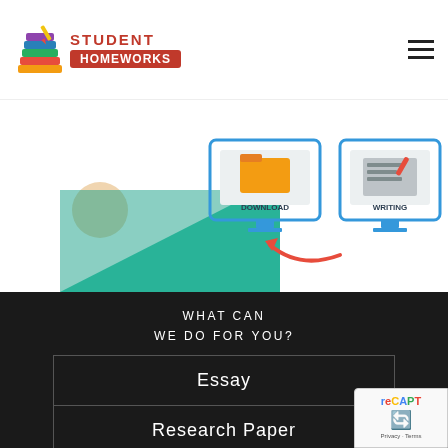[Figure (logo): Student Homeworks logo with stacked books icon and red text banner]
[Figure (illustration): Hero image showing download and writing computer monitors with arrow, student homework service promotional graphic]
WHAT CAN
WE DO FOR YOU?
Essay
Research Paper